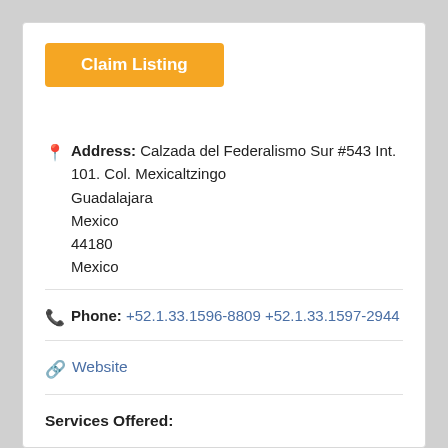Claim Listing
Address: Calzada del Federalismo Sur #543 Int. 101. Col. Mexicaltzingo
Guadalajara
Mexico
44180
Mexico
Phone: +52.1.33.1596-8809 +52.1.33.1597-2944
Website
Services Offered: